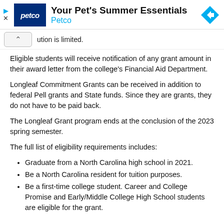[Figure (other): Petco advertisement banner with logo, text 'Your Pet's Summer Essentials' and 'Petco', and a navigation arrow icon]
ution is limited.
Eligible students will receive notification of any grant amount in their award letter from the college's Financial Aid Department.
Longleaf Commitment Grants can be received in addition to federal Pell grants and State funds. Since they are grants, they do not have to be paid back.
The Longleaf Grant program ends at the conclusion of the 2023 spring semester.
The full list of eligibility requirements includes:
Graduate from a North Carolina high school in 2021.
Be a North Carolina resident for tuition purposes.
Be a first-time college student. Career and College Promise and Early/Middle College High School students are eligible for the grant.